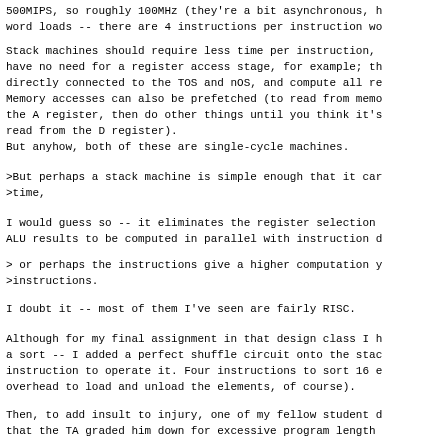500MIPS, so roughly 100MHz (they're a bit asynchronous, h
word loads -- there are 4 instructions per instruction wo
Stack machines should require less time per instruction,
have no need for a register access stage, for example; th
directly connected to the TOS and nOS, and compute all re
Memory accesses can also be prefetched (to read from memo
the A register, then do other things until you think it's
read from the D register).
But anyhow, both of these are single-cycle machines.
>But perhaps a stack machine is simple enough that it car
>time,
I would guess so -- it eliminates the register selection
ALU results to be computed in parallel with instruction d
> or perhaps the instructions give a higher computation y
>instructions.
I doubt it -- most of them I've seen are fairly RISC.
Although for my final assignment in that design class I h
a sort -- I added a perfect shuffle circuit onto the stac
instruction to operate it. Four instructions to sort 16 e
overhead to load and unload the elements, of course).
Then, to add insult to injury, one of my fellow student d
that the TA graded him down for excessive program length